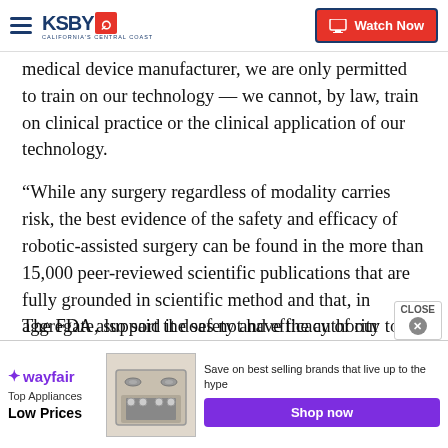KSBY — California's Central Coast | Watch Now
medical device manufacturer, we are only permitted to train on our technology — we cannot, by law, train on clinical practice or the clinical application of our technology.
“While any surgery regardless of modality carries risk, the best evidence of the safety and efficacy of robotic-assisted surgery can be found in the more than 15,000 peer-reviewed scientific publications that are fully grounded in scientific method and that, in aggregate, support the safety and efficacy of our systems.”
The FDA also said it does not have the authority to
[Figure (screenshot): Wayfair advertisement banner: Top Appliances Low Prices with appliance image and Shop now button]